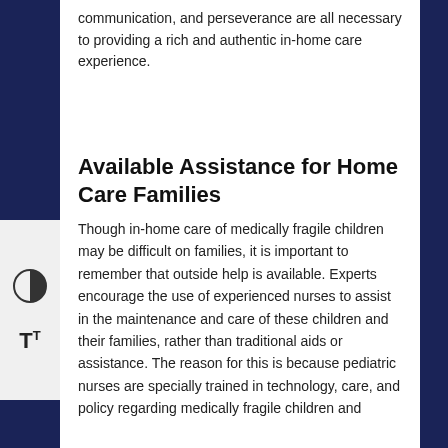communication, and perseverance are all necessary to providing a rich and authentic in-home care experience.
Available Assistance for Home Care Families
Though in-home care of medically fragile children may be difficult on families, it is important to remember that outside help is available. Experts encourage the use of experienced nurses to assist in the maintenance and care of these children and their families, rather than traditional aids or assistance. The reason for this is because pediatric nurses are specially trained in technology, care, and policy regarding medically fragile children and